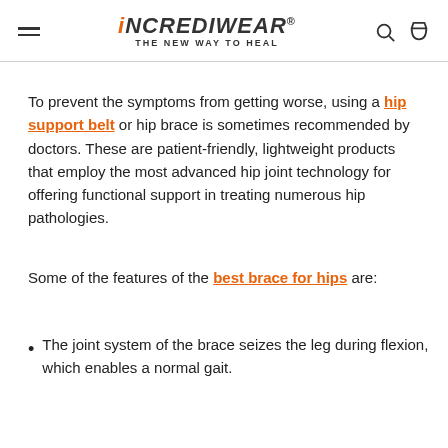iNCREDIWEAR® THE NEW WAY TO HEAL
To prevent the symptoms from getting worse, using a hip support belt or hip brace is sometimes recommended by doctors. These are patient-friendly, lightweight products that employ the most advanced hip joint technology for offering functional support in treating numerous hip pathologies.
Some of the features of the best brace for hips are:
The joint system of the brace seizes the leg during flexion, which enables a normal gait.